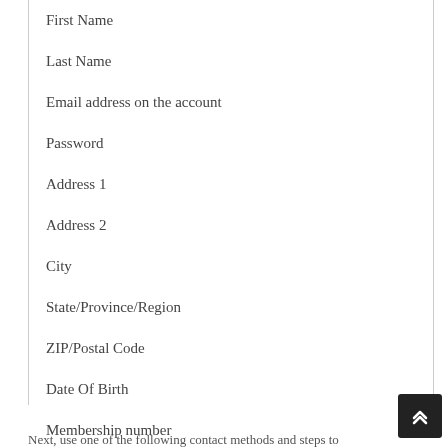First Name
Last Name
Email address on the account
Password
Address 1
Address 2
City
State/Province/Region
ZIP/Postal Code
Date Of Birth
Membership number
Next, use one of the following contact methods and steps to